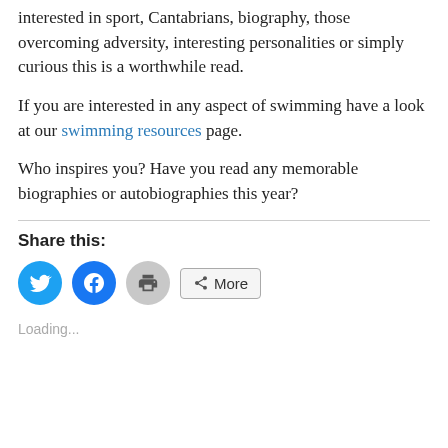interested in sport, Cantabrians, biography, those overcoming adversity, interesting personalities or simply curious this is a worthwhile read.
If you are interested in any aspect of swimming have a look at our swimming resources page.
Who inspires you? Have you read any memorable biographies or autobiographies this year?
Share this:
[Figure (other): Social share buttons: Twitter (blue circle), Facebook (blue circle), Print (grey circle), More (outlined button with share icon)]
Loading...